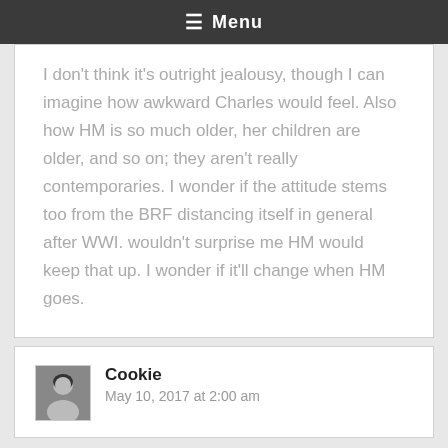≡ Menu
I don't think it's outright jealousy, though I can imagine how awkward Charles would feel. Also how HM is so much older, her children are older, and so on; they aren't really contemporaries. I wonder if the attitude stems too from the BRF distancing itself in general after WWI. wouldn't surprise me HM would keep that up. I wonder if it'll change when HM goes.
Cookie
May 10, 2017 at 2:00 am